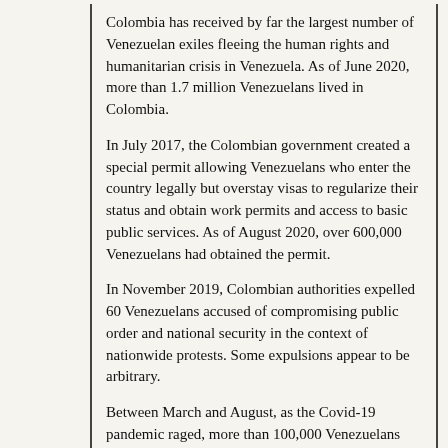Colombia has received by far the largest number of Venezuelan exiles fleeing the human rights and humanitarian crisis in Venezuela. As of June 2020, more than 1.7 million Venezuelans lived in Colombia.
In July 2017, the Colombian government created a special permit allowing Venezuelans who enter the country legally but overstay visas to regularize their status and obtain work permits and access to basic public services. As of August 2020, over 600,000 Venezuelans had obtained the permit.
In November 2019, Colombian authorities expelled 60 Venezuelans accused of compromising public order and national security in the context of nationwide protests. Some expulsions appear to be arbitrary.
Between March and August, as the Covid-19 pandemic raged, more than 100,000 Venezuelans returned to their country.
Gender, Sexuality, and Gender-Based Violence
Gender-based violence, including by armed groups, is widespread. Lack of training and poor implementation of treatment protocols impede timely access to medical services and create obstacles for women and girls seeking post-violence care and justice. Perpetrators of violent, gender-based crimes are rarely held accountable.
In the southern municipality of Tumaco, where armed...